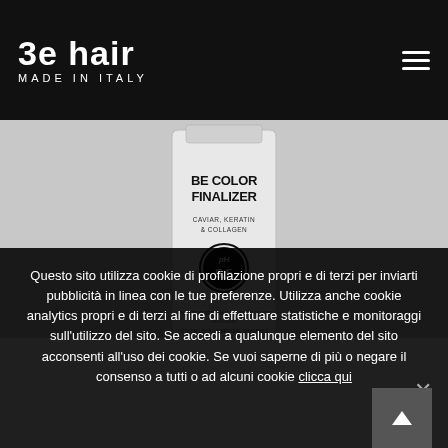[Figure (logo): Be Hair Made in Italy logo in white on black background]
[Figure (photo): Be Color Finalizer product bottle with Caviar, Keratin & Collagen label, pH 5.5 badge, on grey background]
Questo sito utilizza cookie di profilazione propri e di terzi per inviarti pubblicità in linea con le tue preferenze. Utilizza anche cookie analytics propri e di terzi al fine di effettuare statistiche e monitoraggi sull'utilizzo del sito. Se accedi a qualunque elemento del sito acconsenti all'uso dei cookie. Se vuoi saperne di più o negare il consenso a tutti o ad alcuni cookie clicca qui